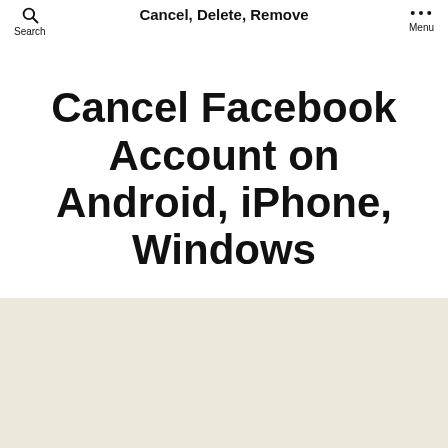Search  Cancel, Delete, Remove  Menu
Cancel Facebook Account on Android, iPhone, Windows